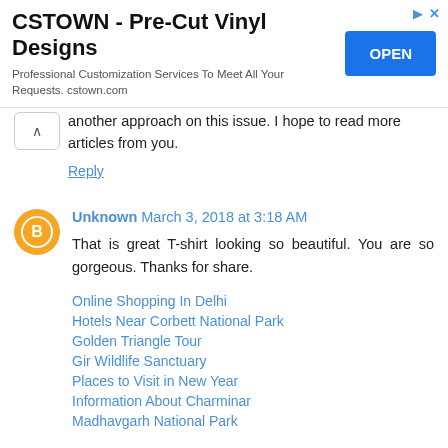[Figure (other): Advertisement banner for CSTOWN - Pre-Cut Vinyl Designs with OPEN button]
another approach on this issue. I hope to read more articles from you.
Reply
Unknown March 3, 2018 at 3:18 AM
That is great T-shirt looking so beautiful. You are so gorgeous. Thanks for share.
Online Shopping In Delhi
Hotels Near Corbett National Park
Golden Triangle Tour
Gir Wildlife Sanctuary
Places to Visit in New Year
Information About Charminar
Madhavgarh National Park